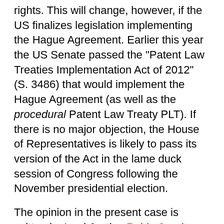rights. This will change, however, if the US finalizes legislation implementing the Hague Agreement. Earlier this year the US Senate passed the "Patent Law Treaties Implementation Act of 2012" (S. 3486) that would implement the Hague Agreement (as well as the procedural Patent Law Treaty PLT). If there is no major objection, the House of Representatives is likely to pass its version of the Act in the lame duck session of Congress following the November presidential election.
The opinion in the present case is written by Lord Justice Robin Jacob who has retired from the bench but is regularly called back to hear intellectual property cases. As you will find with virtually all of Lord Justice Jacob's decisions, the case is well written, layered, and informative. Lord Justice David Kitchin (another IP focused jurist) joined the panel. In addition to the related design patent litigation in the U.S., this particular community design is being litigated in Germany, the